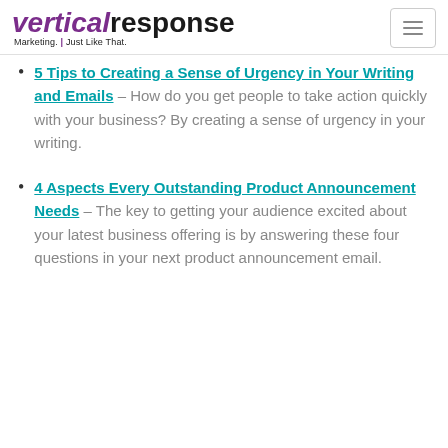VerticalResponse – Marketing. Just Like That.
5 Tips to Creating a Sense of Urgency in Your Writing and Emails – How do you get people to take action quickly with your business? By creating a sense of urgency in your writing.
4 Aspects Every Outstanding Product Announcement Needs – The key to getting your audience excited about your latest business offering is by answering these four questions in your next product announcement email.